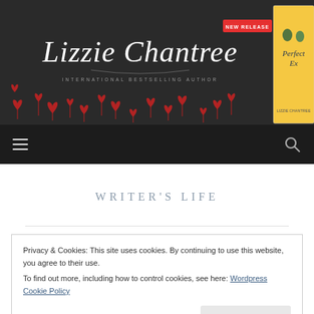[Figure (illustration): Lizzie Chantree website header banner with dark background, scattered red hearts, cursive logo text 'Lizzie Chantree', subtitle 'International Bestselling Author', and a book cover for 'Perfect Ex' with a 'New Release' badge]
NEW RELEASE | Lizzie Chantree | International Bestselling Author
WRITER'S LIFE
Privacy & Cookies: This site uses cookies. By continuing to use this website, you agree to their use.
To find out more, including how to control cookies, see here: Wordpress Cookie Policy
Close and accept